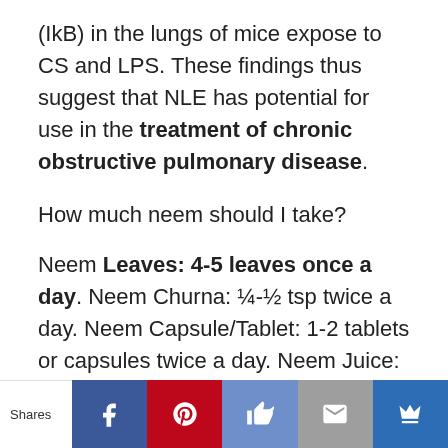(IkB) in the lungs of mice expose to CS and LPS. These findings thus suggest that NLE has potential for use in the treatment of chronic obstructive pulmonary disease.
How much neem should I take?
Neem Leaves: 4-5 leaves once a day. Neem Churna: ¼-½ tsp twice a day. Neem Capsule/Tablet: 1-2 tablets or capsules twice a day. Neem Juice: 2-4 tsp twice a day.
[Figure (infographic): Social sharing bar with Shares label and buttons for Facebook, Pinterest, Like, Email, and Crown/Bookmark]